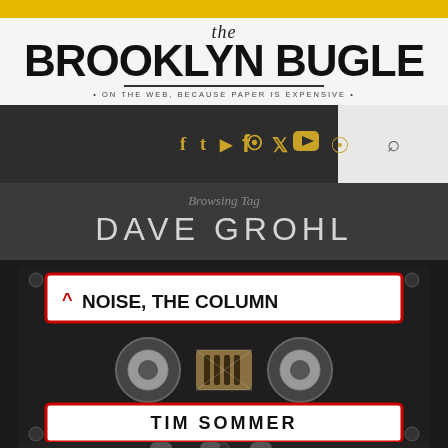the Brooklyn Bugle
• ON THE WEB, BECAUSE PAPER IS EXPENSIVE •
[Figure (screenshot): Navigation bar with social media icons (Facebook, Twitter, YouTube, RSS) in gold on dark background, and a search icon on light background]
Browsing Tag
DAVE GROHL
[Figure (illustration): Cassette tape graphic with label reading 'NOISE, THE COLUMN' on top and 'TIM SOMMER' on bottom label, with cassette reels visible in center]